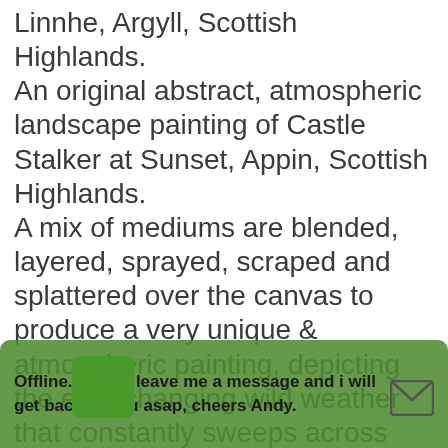Linnhe, Argyll, Scottish Highlands. An original abstract, atmospheric landscape painting of Castle Stalker at Sunset, Appin, Scottish Highlands. A mix of mediums are blended, layered, sprayed, scraped and splattered over the canvas to produce a very unique & atmospheric painting, depicting the ever changing wild weather that constantly sweeps across Scotland's Hebridean islands & Highlands from The Atlantic. I love to combine & layer different types of paint & application of
Offline. Please leave me a message and i will get back to you asap, cheers Andy.